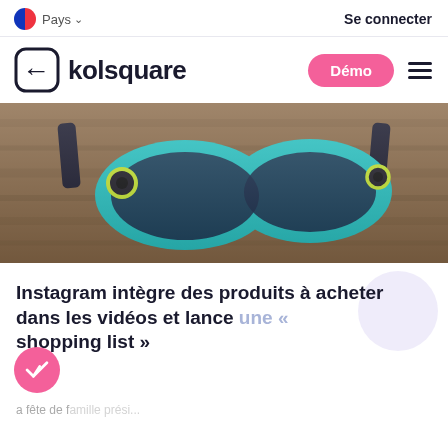Pays   Se connecter
[Figure (logo): Kolsquare logo with icon and wordmark, Démo button, hamburger menu]
[Figure (photo): Teal/turquoise Snapchat Spectacles camera sunglasses on a wooden surface]
Instagram intègre des produits à acheter dans les vidéos et lance une « shopping list »
a fête de famille prési...